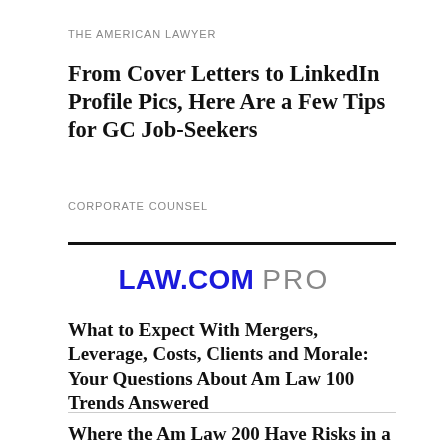THE AMERICAN LAWYER
From Cover Letters to LinkedIn Profile Pics, Here Are a Few Tips for GC Job-Seekers
CORPORATE COUNSEL
[Figure (logo): LAW.COM PRO logo — LAW.COM in bold blue, PRO in grey]
What to Expect With Mergers, Leverage, Costs, Clients and Morale: Your Questions About Am Law 100 Trends Answered
Where the Am Law 200 Have Risks in a Downturn